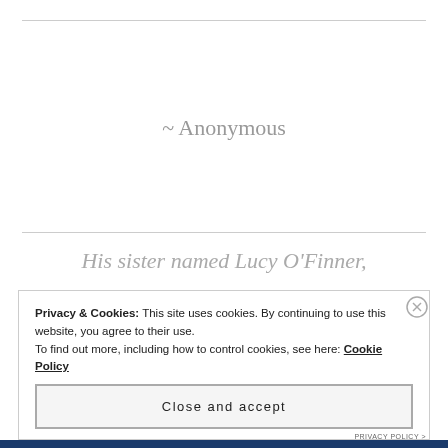~ Anonymous
His sister named Lucy O’Finner,
Privacy & Cookies: This site uses cookies. By continuing to use this website, you agree to their use.
To find out more, including how to control cookies, see here: Cookie Policy
Close and accept